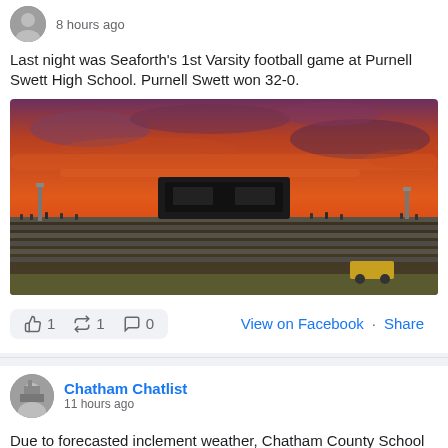8 hours ago
Last night was Seaforth's 1st Varsity football game at Purnell Swett High School. Purnell Swett won 32-0.
[Figure (photo): Football stadium bleachers under a dramatic orange and red sunset sky, with a scoreboard visible in the upper center.]
👍 1   🔁 1   💬 0   View on Facebook · Share
Chatham Chatlist
11 hours ago
Due to forecasted inclement weather, Chatham County School will be canceling the Back-to-School Bash. They will be coordinating school supply distributions with our